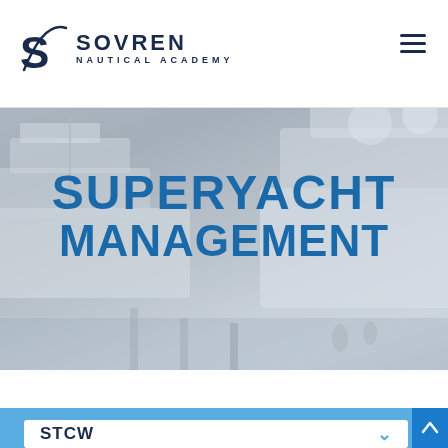[Figure (logo): Sovren Nautical Academy logo with stylized S and arc, navy blue text]
[Figure (photo): Grayscale background photo of luxury superyachts docked at a marina]
SUPERYACHT MANAGEMENT
STCW
[Figure (other): Scroll-to-top arrow button in dark blue]